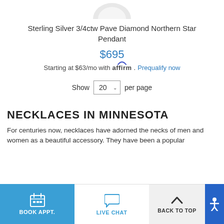[Figure (photo): Partial top of a star-shaped diamond pendant on white background]
Sterling Silver 3/4ctw Pave Diamond Northern Star Pendant
$695
Starting at $63/mo with affirm. Prequalify now
Show 20 per page
NECKLACES IN MINNESOTA
For centuries now, necklaces have adorned the necks of men and women as a beautiful accessory. They have been a popular
BOOK APPT.   LIVE CHAT   BACK TO TOP